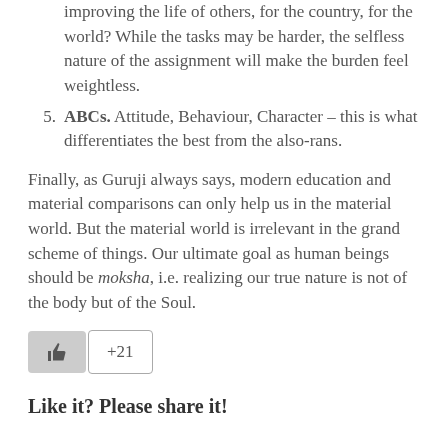improving the life of others, for the country, for the world? While the tasks may be harder, the selfless nature of the assignment will make the burden feel weightless.
ABCs. Attitude, Behaviour, Character – this is what differentiates the best from the also-rans.
Finally, as Guruji always says, modern education and material comparisons can only help us in the material world. But the material world is irrelevant in the grand scheme of things. Our ultimate goal as human beings should be moksha, i.e. realizing our true nature is not of the body but of the Soul.
[Figure (other): Like/thumbs-up button with +21 count]
Like it? Please share it!